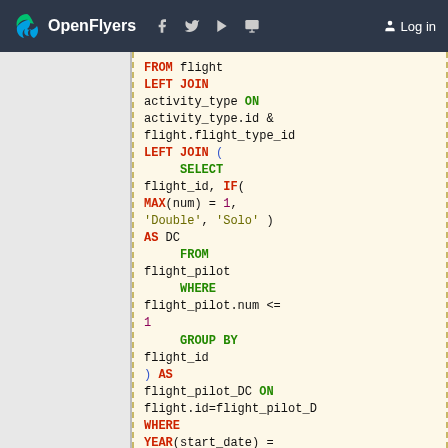OpenFlyers  Log in
FROM flight LEFT JOIN activity_type ON activity_type.id & flight.flight_type_id LEFT JOIN ( SELECT flight_id, IF( MAX(num) = 1, 'Double', 'Solo' ) AS DC FROM flight_pilot WHERE flight_pilot.num <= 1 GROUP BY flight_id ) AS flight_pilot_DC ON flight.id=flight_pilot_D WHERE YEAR(start_date) = $year AND airborne = 0 GROUP BY